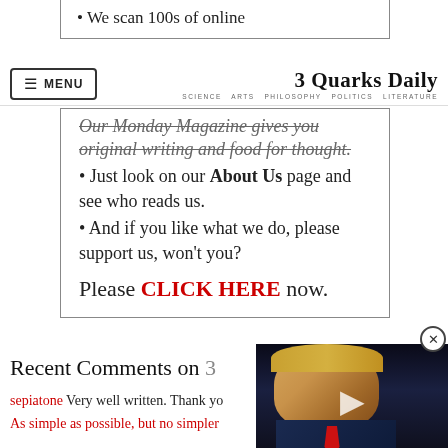We scan 100s of online
[Figure (screenshot): 3 Quarks Daily website navigation bar with hamburger menu button and site logo]
Our Monday Magazine gives you original writing and food for thought.
Just look on our About Us page and see who reads us.
And if you like what we do, please support us, won't you?
Please CLICK HERE now.
Recent Comments on 3
sepiatone Very well written. Thank yo
As simple as possible, but no simpler
[Figure (photo): Video overlay showing a man in a suit with a red tie against a dark background, with a play button and close X button]